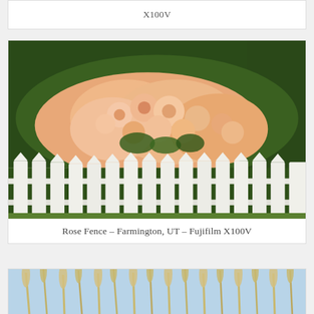X100V
[Figure (photo): Rose bush with peach/cream colored roses blooming over a white picket fence, with green ivy or vines in the background. Photographed in Farmington, UT with a Fujifilm X100V.]
Rose Fence – Farmington, UT – Fujifilm X100V
[Figure (photo): Tall grass or wheat-like plants with feathery seed heads against a light blue sky, partially cropped at the bottom of the page.]